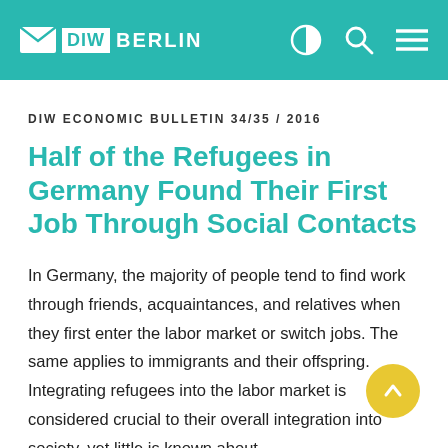DIW BERLIN
DIW ECONOMIC BULLETIN 34/35 / 2016
Half of the Refugees in Germany Found Their First Job Through Social Contacts
In Germany, the majority of people tend to find work through friends, acquaintances, and relatives when they first enter the labor market or switch jobs. The same applies to immigrants and their offspring. Integrating refugees into the labor market is considered crucial to their overall integration into society, yet little is known about